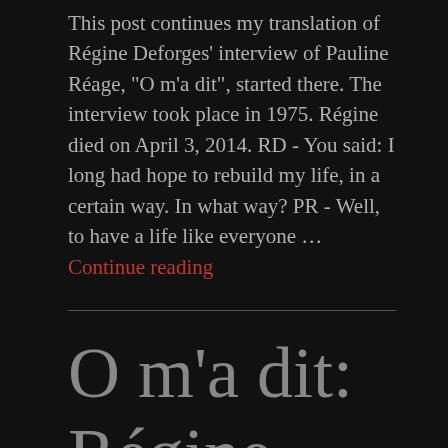This post continues my translation of Régine Deforges' interview of Pauline Réage, "O m'a dit", started there. The interview took place in 1975. Régine died on April 3, 2014. RD - You said: I long had hope to rebuild my life, in a certain way. In what way? PR - Well, to have a life like everyone … Continue reading
O m'a dit: Régine Deforges'